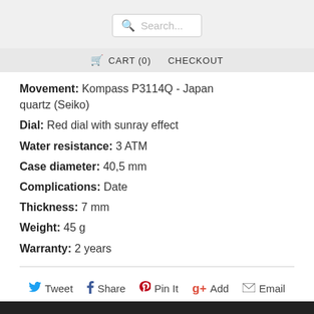Search...
🛒 CART (0)  CHECKOUT
Movement: Kompass P3114Q - Japan quartz (Seiko)
Dial: Red dial with sunray effect
Water resistance: 3 ATM
Case diameter: 40,5 mm
Complications: Date
Thickness: 7 mm
Weight: 45 g
Warranty: 2 years
Tweet  Share  Pin It  Add  Email